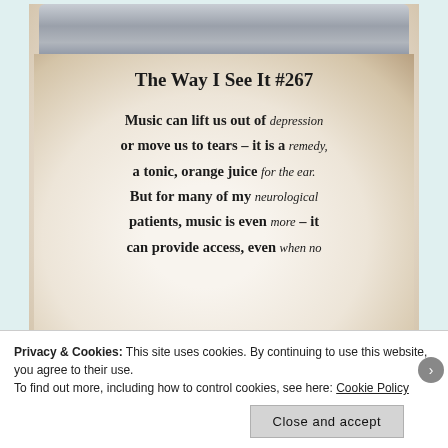[Figure (photo): A Starbucks-style takeaway coffee cup with a white/light-colored lid and cream cup body, photographed against a warm blurred background. The cup displays text reading 'The Way I See It #267' followed by a quote about music.]
Privacy & Cookies: This site uses cookies. By continuing to use this website, you agree to their use.
To find out more, including how to control cookies, see here: Cookie Policy
Close and accept